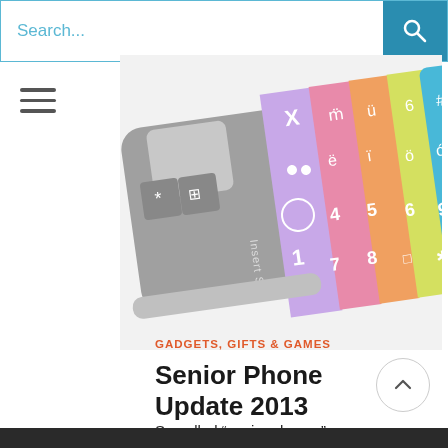Search...
[Figure (photo): A colorful senior phone (simplified cellphone) with large colorful keys in yellow, green, blue, purple, pink, and orange, shown from a tilted top-down angle with 'Insert SIM' visible on the gray body.]
GADGETS, GIFTS & GAMES
Senior Phone Update 2013
So-called “senior phones” are simplified cellphones that are designed for ease of use by